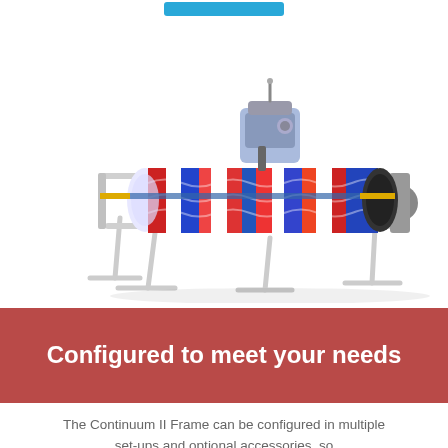[Figure (photo): A quilting frame machine (Continuum II Frame) with colorful red, white, and blue quilt fabric rolled on it, mounted on a metal stand with adjustable legs and a sewing machine head on top.]
Configured to meet your needs
The Continuum II Frame can be configured in multiple set-ups and optional accessories, so